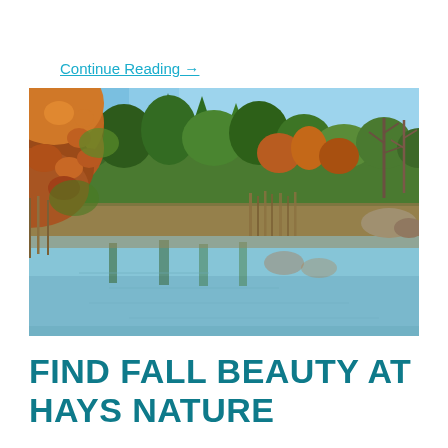Continue Reading  →
[Figure (photo): Autumn nature scene showing a calm pond or lake reflecting trees with fall foliage — red, orange, yellow, and green leaves — under a clear blue sky. Dense woodland surrounds the water, with bare branches visible on the right side.]
FIND FALL BEAUTY AT HAYS NATURE